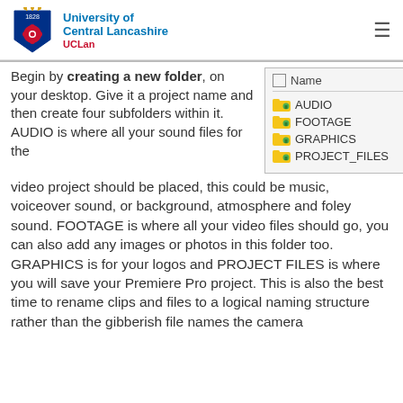University of Central Lancashire UCLan
Begin by creating a new folder, on your desktop. Give it a project name and then create four subfolders within it. AUDIO is where all your sound files for the video project should be placed, this could be music, voiceover sound, or background, atmosphere and foley sound. FOOTAGE is where all your video files should go, you can also add any images or photos in this folder too. GRAPHICS is for your logos and PROJECT FILES is where you will save your Premiere Pro project. This is also the best time to rename clips and files to a logical naming structure rather than the gibberish file names the camera
[Figure (screenshot): A file manager window showing a Name column with four folders listed: AUDIO, FOOTAGE, GRAPHICS, PROJECT_FILES, each with a yellow/green folder icon.]